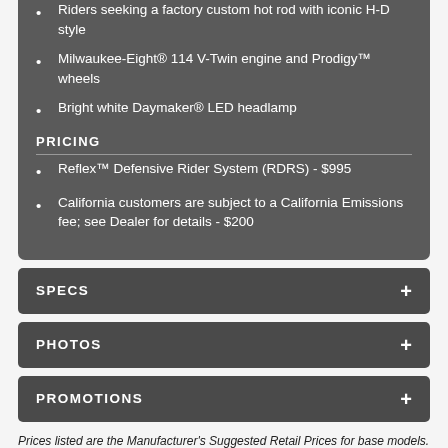Riders seeking a factory custom hot rod with iconic H-D style
Milwaukee-Eight® 114 V-Twin engine and Prodigy™ wheels
Bright white Daymaker® LED headlamp
PRICING
Reflex™ Defensive Rider System (RDRS) - $995
California customers are subject to a California Emissions fee; see Dealer for details - $200
SPECS
PHOTOS
PROMOTIONS
Prices listed are the Manufacturer's Suggested Retail Prices for base models. Options such as color are available at